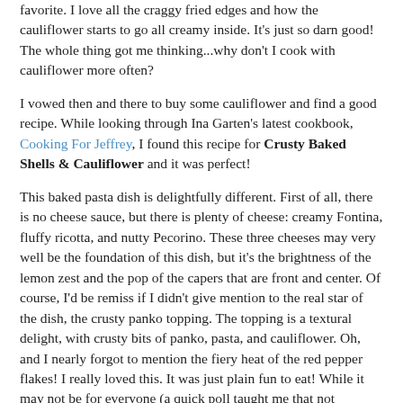favorite. I love all the craggy fried edges and how the cauliflower starts to go all creamy inside. It's just so darn good! The whole thing got me thinking...why don't I cook with cauliflower more often?
I vowed then and there to buy some cauliflower and find a good recipe. While looking through Ina Garten's latest cookbook, Cooking For Jeffrey, I found this recipe for Crusty Baked Shells & Cauliflower and it was perfect!
This baked pasta dish is delightfully different. First of all, there is no cheese sauce, but there is plenty of cheese: creamy Fontina, fluffy ricotta, and nutty Pecorino. These three cheeses may very well be the foundation of this dish, but it's the brightness of the lemon zest and the pop of the capers that are front and center. Of course, I'd be remiss if I didn't give mention to the real star of the dish, the crusty panko topping. The topping is a textural delight, with crusty bits of panko, pasta, and cauliflower. Oh, and I nearly forgot to mention the fiery heat of the red pepper flakes! I really loved this. It was just plain fun to eat! While it may not be for everyone (a quick poll taught me that not everyone loves cauliflower), I will say that for bite-by-bite delightfully